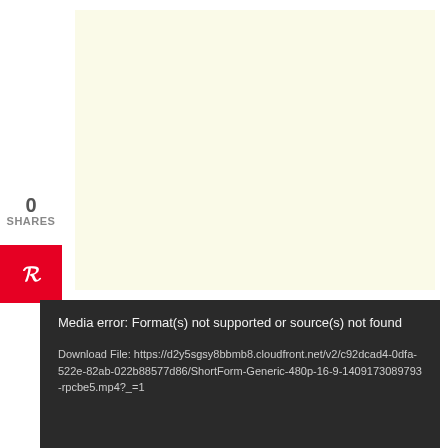[Figure (other): Light yellow video placeholder area]
0
SHARES
[Figure (other): Pinterest share button with P icon in red]
Media error: Format(s) not supported or source(s) not found
Download File: https://d2y5sgsy8bbmb8.cloudfront.net/v2/c92dcad4-0dfa-522e-82ab-022b88577d86/ShortForm-Generic-480p-16-9-1409173089793-rpcbe5.mp4?_=1